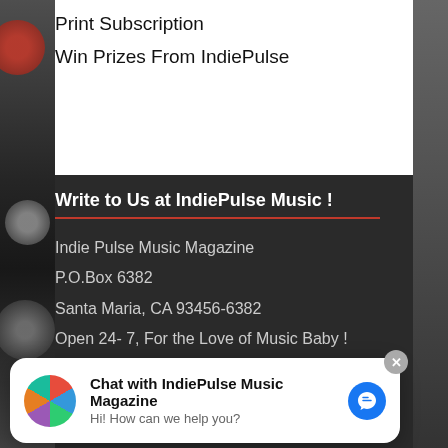Print Subscription
Win Prizes From IndiePulse
Write to Us at IndiePulse Music !
Indie Pulse Music Magazine
P.O.Box 6382
Santa Maria, CA 93456-6382
Open 24- 7, For the Love of Music Baby !
News/Media Service Partner
[Figure (illustration): Pop-art style illustration of a person's head on a pink background]
Chat with IndiePulse Music Magazine
Hi! How can we help you?